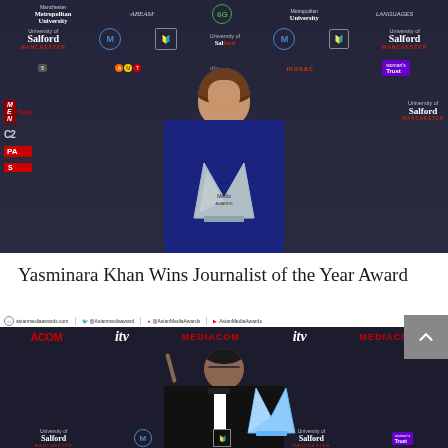[Figure (photo): Woman with curly hair holding a large silver 'M' shaped trophy/award, standing in front of a sponsor banner backdrop featuring University of Salford Manchester, 6G, Metropolitan University, Woman's Trust, MEN Media, PA, C2, mosac logos and others. The event appears to be the Asian Media Awards.]
Yasminara Khan Wins Journalist of the Year Award
[Figure (photo): Man in a tuxedo holding a large silver 'M' shaped trophy/award and pointing upward with one finger, standing in front of an Asian Media Awards sponsor banner backdrop featuring asianmediaawards.com, ACOM, ITV, MEDIACOM, 6G, Manchester Metropolitan University, University of Salford Manchester, Woman's Trust logos.]